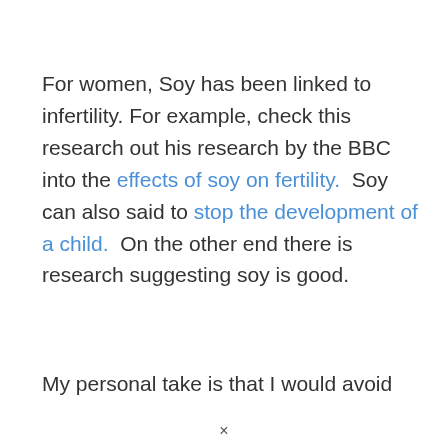For women, Soy has been linked to infertility. For example, check this research out his research by the BBC into the effects of soy on fertility.  Soy can also said to stop the development of a child.  On the other end there is research suggesting soy is good.
My personal take is that I would avoid